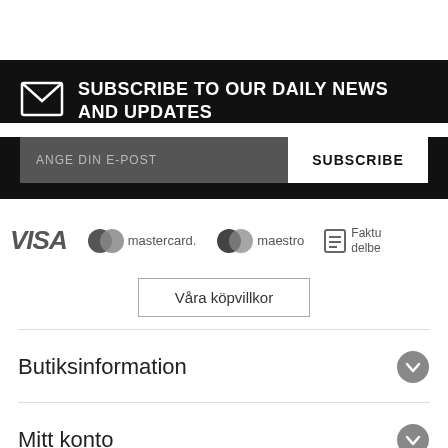SUBSCRIBE TO OUR DAILY NEWS AND UPDATES
ANGE DIN E-POST
SUBSCRIBE
[Figure (logo): Payment method logos: VISA, mastercard, maestro, Faktura/delbe...]
Våra köpvillkor
Butiksinformation
Mitt konto